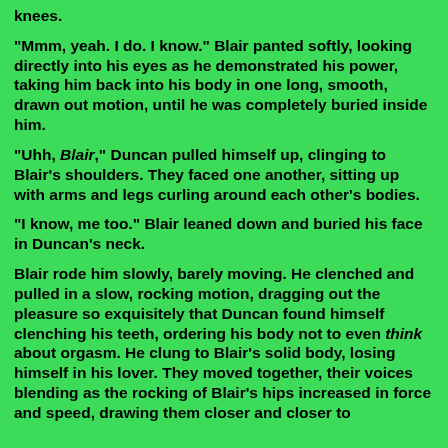knees.
"Mmm, yeah. I do. I know." Blair panted softly, looking directly into his eyes as he demonstrated his power, taking him back into his body in one long, smooth, drawn out motion, until he was completely buried inside him.
"Uhh, Blair," Duncan pulled himself up, clinging to Blair's shoulders. They faced one another, sitting up with arms and legs curling around each other's bodies.
"I know, me too." Blair leaned down and buried his face in Duncan's neck.
Blair rode him slowly, barely moving. He clenched and pulled in a slow, rocking motion, dragging out the pleasure so exquisitely that Duncan found himself clenching his teeth, ordering his body not to even think about orgasm. He clung to Blair's solid body, losing himself in his lover. They moved together, their voices blending as the rocking of Blair's hips increased in force and speed, drawing them closer and closer to